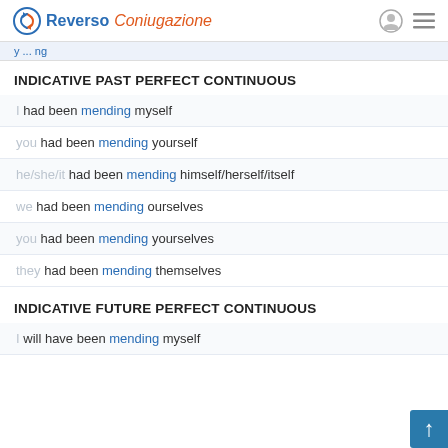Reverso Coniugazione
y ... ng
INDICATIVE PAST PERFECT CONTINUOUS
I had been mending myself
you had been mending yourself
he/she/it had been mending himself/herself/itself
we had been mending ourselves
you had been mending yourselves
they had been mending themselves
INDICATIVE FUTURE PERFECT CONTINUOUS
I will have been mending myself